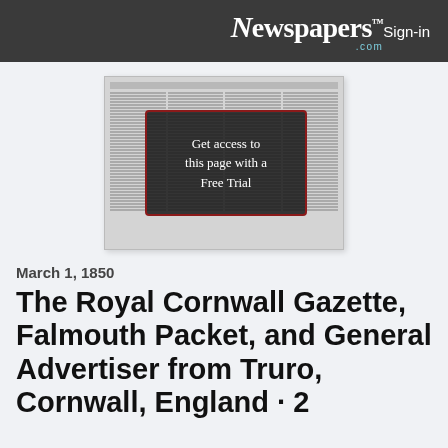Newspapers.com  Sign-in
[Figure (screenshot): Thumbnail preview of a scanned newspaper page with a dark overlay box reading 'Get access to this page with a Free Trial']
March 1, 1850
The Royal Cornwall Gazette, Falmouth Packet, and General Advertiser from Truro, Cornwall, England · 2